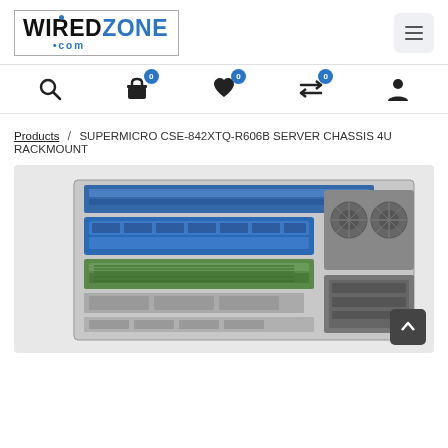[Figure (logo): WiredZone.com logo with antenna dot, inside a bordered box]
[Figure (infographic): Navigation icon bar with search, cart (badge 0), wishlist heart (badge 0), compare (badge 0), and user account icons]
Products / SUPERMICRO CSE-842XTQ-R606B SERVER CHASSIS 4U RACKMOUNT
[Figure (photo): Interior view of Supermicro CSE-842XTQ-R606B 4U rackmount server chassis showing drive bays, backplane, and cooling fans]